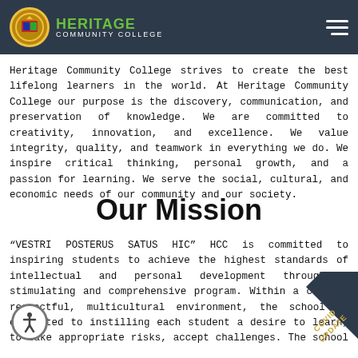Heritage Community College
Heritage Community College strives to create the best lifelong learners in the world. At Heritage Community College our purpose is the discovery, communication, and preservation of knowledge. We are committed to creativity, innovation, and excellence. We value integrity, quality, and teamwork in everything we do. We inspire critical thinking, personal growth, and a passion for learning. We serve the social, cultural, and economic needs of our community and our society.
Our Mission
“VESTRI POSTERUS SATUS HIC” HCC is committed to inspiring students to achieve the highest standards of intellectual and personal development through a stimulating and comprehensive program. Within a caring, respectful, multicultural environment, the school is committed to instilling each student a desire to learn, to take appropriate risks, accept challenges. The school community is committed to developing students who are resilient and